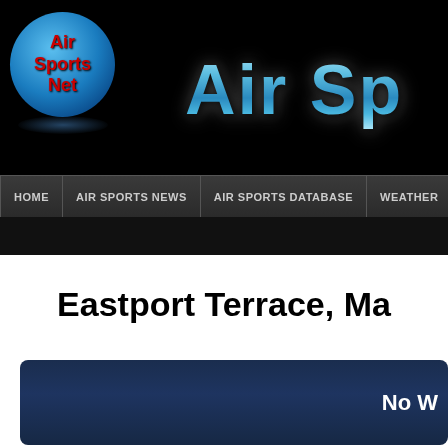[Figure (logo): Air Sports Net logo — blue 3D sphere with red bold text 'Air Sports Net' centered inside, with shadow beneath]
Air Sp
HOME | AIR SPORTS NEWS | AIR SPORTS DATABASE | WEATHER | FIND A
Eastport Terrace, Ma
[Figure (screenshot): Dark navy blue weather widget box with stars/dots texture and white bold text 'No W' on right side (partially cropped)]